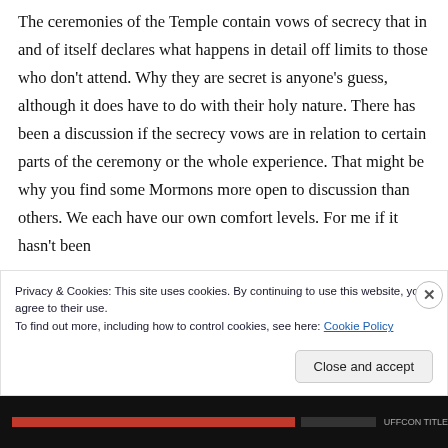The ceremonies of the Temple contain vows of secrecy that in and of itself declares what happens in detail off limits to those who don't attend. Why they are secret is anyone's guess, although it does have to do with their holy nature. There has been a discussion if the secrecy vows are in relation to certain parts of the ceremony or the whole experience. That might be why you find some Mormons more open to discussion than others. We each have our own comfort levels. For me if it hasn't been
Privacy & Cookies: This site uses cookies. By continuing to use this website, you agree to their use.
To find out more, including how to control cookies, see here: Cookie Policy
Close and accept